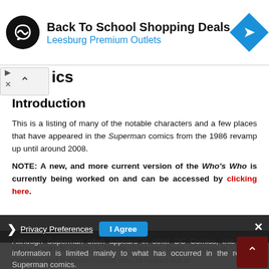[Figure (screenshot): Advertisement banner for 'Back To School Shopping Deals' at Leesburg Premium Outlets, with a circular black logo with infinity-like symbol, blue text subtitle, and a blue diamond direction icon on the right.]
Introduction
This is a listing of many of the notable characters and a few places that have appeared in the Superman comics from the 1986 revamp up until around 2008.
NOTE: A new, and more current version of the Who's Who is currently being worked on and can be accessed by clicking here.
Although Superman often appears in other DC Comics, this text's information is limited mainly to what has occurred in the regular Superman comics.
Many thanks to Scotty V, Nicole Coleman, Dean, Genevieve Clemens and Benjamin Grose who all helped out at